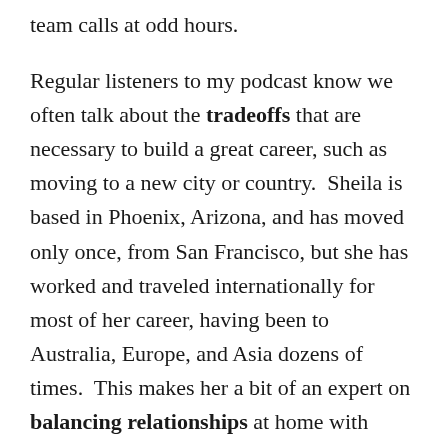team calls at odd hours.
Regular listeners to my podcast know we often talk about the tradeoffs that are necessary to build a great career, such as moving to a new city or country.  Sheila is based in Phoenix, Arizona, and has moved only once, from San Francisco, but she has worked and traveled internationally for most of her career, having been to Australia, Europe, and Asia dozens of times.  This makes her a bit of an expert on balancing relationships at home with global business relationships, and that's exactly her focus in all contexts – relationships.  But don't be fooled – Sheila is tender but tough, and she's a "get-it-done" woman with high standards and